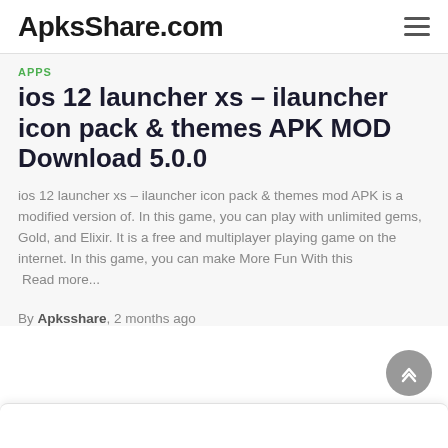ApksShare.com
APPS
ios 12 launcher xs – ilauncher icon pack & themes APK MOD Download 5.0.0
ios 12 launcher xs – ilauncher icon pack & themes mod APK is a modified version of. In this game, you can play with unlimited gems, Gold, and Elixir. It is a free and multiplayer playing game on the internet. In this game, you can make More Fun With this Read more...
By Apksshare, 2 months ago